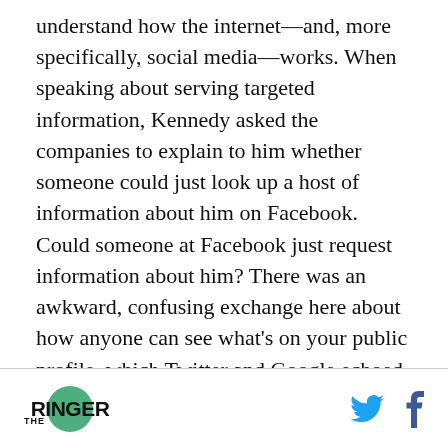understand how the internet—and, more specifically, social media—works. When speaking about serving targeted information, Kennedy asked the companies to explain to him whether someone could just look up a host of information about him on Facebook. Could someone at Facebook just request information about him? There was an awkward, confusing exchange here about how anyone can see what's on your public profile, which Twitter and Google echoed, and then Kennedy got around to asking in more specific terms if Facebook CEO Mark Zuckerberg
THE RINGER